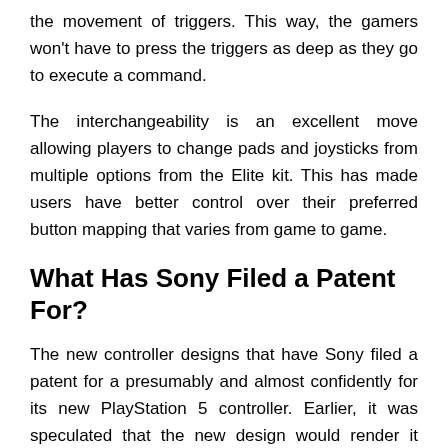the movement of triggers. This way, the gamers won't have to press the triggers as deep as they go to execute a command.
The interchangeability is an excellent move allowing players to change pads and joysticks from multiple options from the Elite kit. This has made users have better control over their preferred button mapping that varies from game to game.
What Has Sony Filed a Patent For?
The new controller designs that have Sony filed a patent for a presumably and almost confidently for its new PlayStation 5 controller. Earlier, it was speculated that the new design would render it incompatible with the